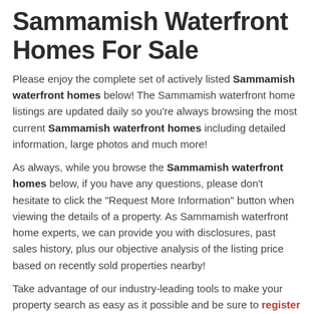Sammamish Waterfront Homes For Sale
Please enjoy the complete set of actively listed Sammamish waterfront homes below! The Sammamish waterfront home listings are updated daily so you're always browsing the most current Sammamish waterfront homes including detailed information, large photos and much more!
As always, while you browse the Sammamish waterfront homes below, if you have any questions, please don't hesitate to click the "Request More Information" button when viewing the details of a property. As Sammamish waterfront home experts, we can provide you with disclosures, past sales history, plus our objective analysis of the listing price based on recently sold properties nearby!
Take advantage of our industry-leading tools to make your property search as easy as it possible and be sure to register